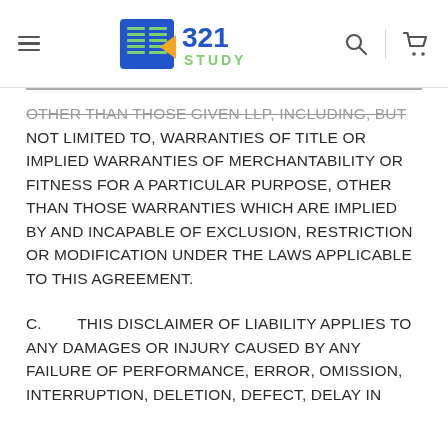321 Study logo, navigation menu, search, cart
OTHER THAN THOSE GIVEN LLP, INCLUDING, BUT NOT LIMITED TO, WARRANTIES OF TITLE OR IMPLIED WARRANTIES OF MERCHANTABILITY OR FITNESS FOR A PARTICULAR PURPOSE, OTHER THAN THOSE WARRANTIES WHICH ARE IMPLIED BY AND INCAPABLE OF EXCLUSION, RESTRICTION OR MODIFICATION UNDER THE LAWS APPLICABLE TO THIS AGREEMENT.
C. THIS DISCLAIMER OF LIABILITY APPLIES TO ANY DAMAGES OR INJURY CAUSED BY ANY FAILURE OF PERFORMANCE, ERROR, OMISSION, INTERRUPTION, DELETION, DEFECT, DELAY IN